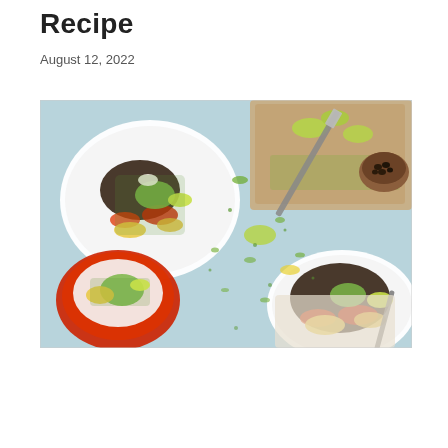Recipe
August 12, 2022
[Figure (photo): Overhead food photography showing three plates and one bowl of Mexican-style dishes with black beans, avocado, roasted vegetables, lime wedges, and fresh herbs on a light blue background. A wooden cutting board with a knife, scattered herbs, and a small clay bowl of black beans are also visible.]